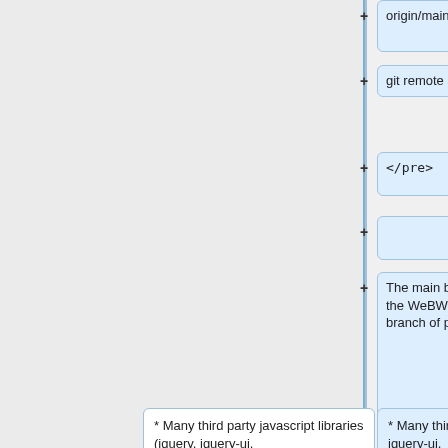origin/main main
git remote set-head origin -a
</pre>
The main branch of webwork2 is the now the WeBWorK 2.16 release, and the main branch of pg is the PG 2.16 release.
* Many third party javascript libraries (jquery, jquery-ui,
* Many third party javascript libraries (jquery, jquery-ui,